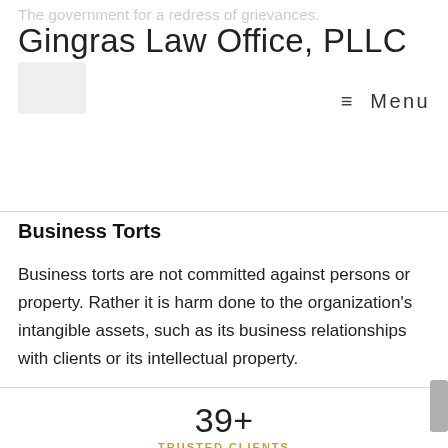The government for a redress of grievances.
Gingras Law Office, PLLC
≡  Menu
Business Torts
Business torts are not committed against persons or property. Rather it is harm done to the organization's intangible assets, such as its business relationships with clients or its intellectual property.
39+
TRUSTED CLIENTS